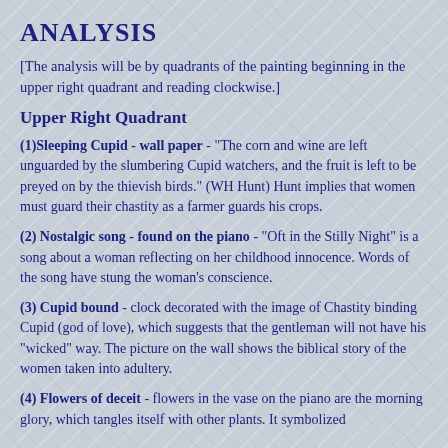ANALYSIS
[The analysis will be by quadrants of the painting beginning in the upper right quadrant and reading clockwise.]
Upper Right Quadrant
(1)Sleeping Cupid - wall paper - "The corn and wine are left unguarded by the slumbering Cupid watchers, and the fruit is left to be preyed on by the thievish birds." (WH Hunt) Hunt implies that women must guard their chastity as a farmer guards his crops.
(2) Nostalgic song - found on the piano - "Oft in the Stilly Night" is a song about a woman reflecting on her childhood innocence. Words of the song have stung the woman's conscience.
(3) Cupid bound - clock decorated with the image of Chastity binding Cupid (god of love), which suggests that the gentleman will not have his "wicked" way. The picture on the wall shows the biblical story of the women taken into adultery.
(4) Flowers of deceit - flowers in the vase on the piano are the morning glory, which tangles itself with other plants. It symbolized